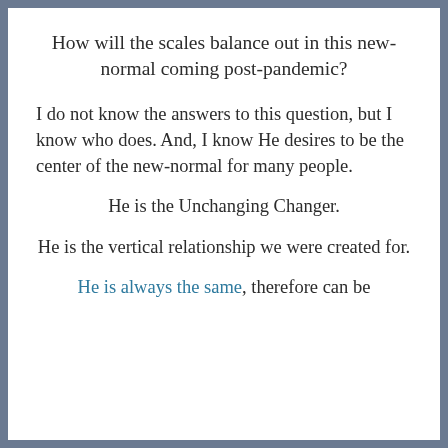How will the scales balance out in this new-normal coming post-pandemic?
I do not know the answers to this question, but I know who does. And, I know He desires to be the center of the new-normal for many people.
He is the Unchanging Changer.
He is the vertical relationship we were created for.
He is always the same, therefore can be